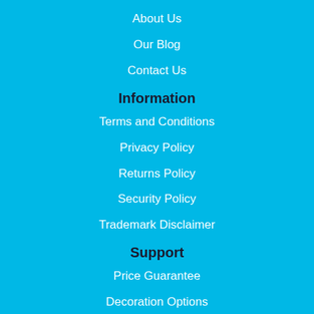About Us
Our Blog
Contact Us
Information
Terms and Conditions
Privacy Policy
Returns Policy
Security Policy
Trademark Disclaimer
Support
Price Guarantee
Decoration Options